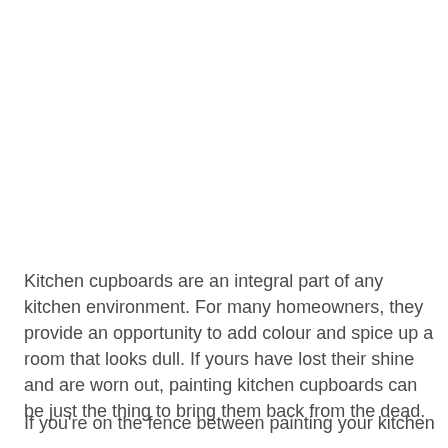Kitchen cupboards are an integral part of any kitchen environment. For many homeowners, they provide an opportunity to add colour and spice up a room that looks dull. If yours have lost their shine and are worn out, painting kitchen cupboards can be just the thing to bring them back from the dead.
If you're on the fence between painting your kitchen